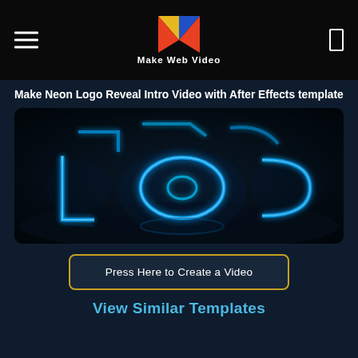Make Web Video
Make Neon Logo Reveal Intro Video with After Effects template
[Figure (screenshot): Neon glowing blue logo reveal effect on dark background, showing illuminated letter outlines in a 3D perspective]
Press Here to Create a Video
View Similar Templates